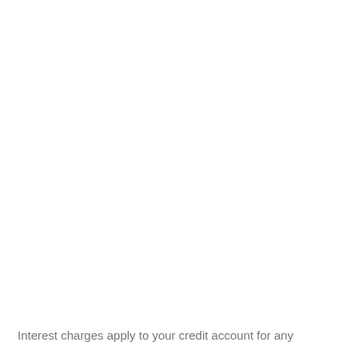Interest charges apply to your credit account for any